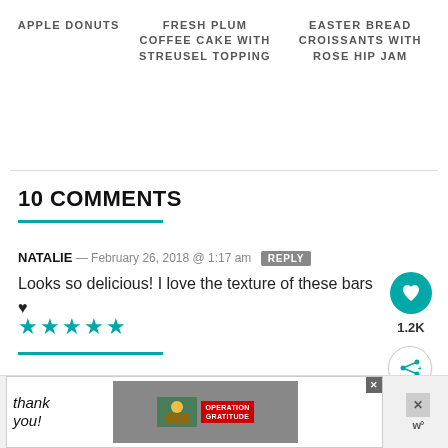APPLE DONUTS
FRESH PLUM COFFEE CAKE WITH STREUSEL TOPPING
EASTER BREAD CROISSANTS WITH ROSE HIP JAM
10 COMMENTS
NATALIE — February 26, 2018 @ 1:17 am  REPLY
Looks so delicious! I love the texture of these bars ♥
★★★★★
[Figure (infographic): Advertisement banner: Thank you note with Operation Gratitude military imagery and logo]